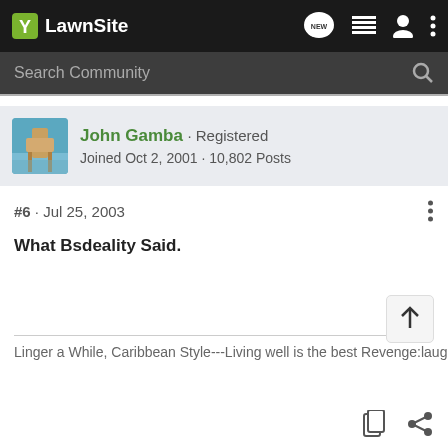LawnSite
Search Community
John Gamba · Registered
Joined Oct 2, 2001 · 10,802 Posts
#6 · Jul 25, 2003
What Bsdeality Said.
Linger a While, Caribbean Style---Living well is the best Revenge:laugh...